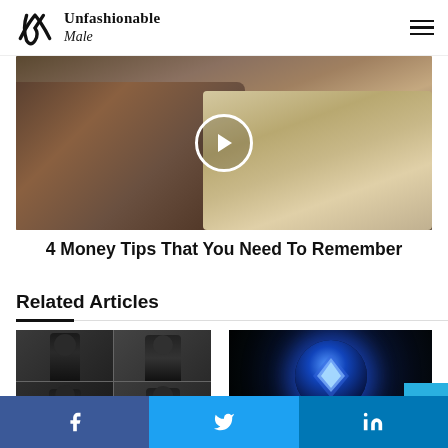Unfashionable Male
[Figure (photo): Close-up photo of hands holding a wallet with cash dollar bills, with a circular play button overlay in the center]
4 Money Tips That You Need To Remember
Related Articles
[Figure (photo): Four-panel grid photo showing a man in black clothing from different angles]
[Figure (photo): Person holding a glowing blue magic 8-ball with a diamond shape visible]
Facebook Twitter LinkedIn social share buttons